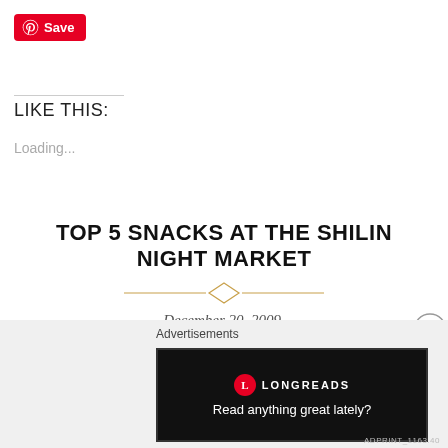[Figure (logo): Pinterest Save button — red rounded rectangle with Pinterest 'P' icon and white 'Save' text]
LIKE THIS:
Loading...
TOP 5 SNACKS AT THE SHILIN NIGHT MARKET
[Figure (illustration): Decorative golden diamond divider with horizontal lines on either side]
December 20, 2009.
Reading time 6 minutes.
Trader and I visited Taiwan last weekend and gorged on its
Advertisements
[Figure (logo): Longreads advertisement banner — dark background with Longreads logo and tagline 'Read anything great lately?']